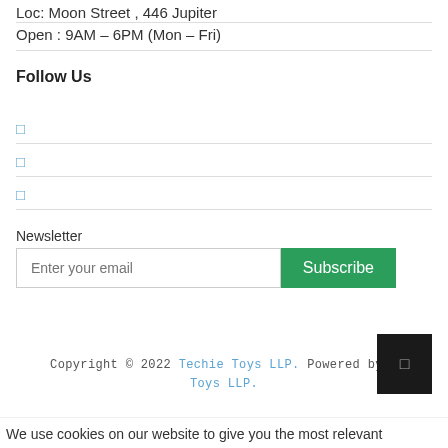Loc: Moon Street , 446 Jupiter
Open : 9AM – 6PM (Mon – Fri)
Follow Us
□
□
□
Newsletter
Enter your email  Subscribe
Copyright © 2022 Techie Toys LLP. Powered by Techie Toys LLP.
We use cookies on our website to give you the most relevant